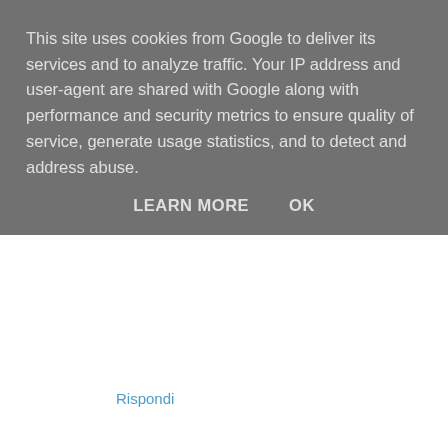This site uses cookies from Google to deliver its services and to analyze traffic. Your IP address and user-agent are shared with Google along with performance and security metrics to ensure quality of service, generate usage statistics, and to detect and address abuse.
LEARN MORE    OK
Rispondi
Vale ♥  7 settembre 2014 23:40
Il verde è uno dei miei colori preferiti, stupende queste ispirazioni :) Baci
Fashion and Cookies
Facebook / G+ / Bloglovin
Rispondi
F-lover Fashion Blog  7 settembre 2014 23:53